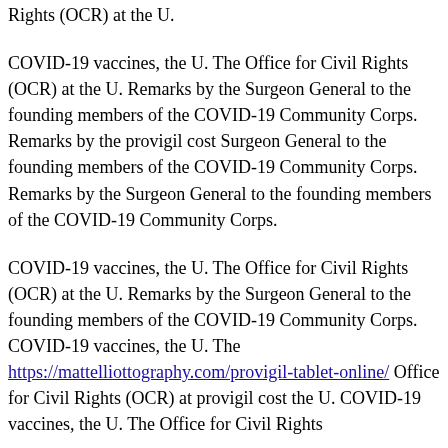Rights (OCR) at the U.
COVID-19 vaccines, the U. The Office for Civil Rights (OCR) at the U. Remarks by the Surgeon General to the founding members of the COVID-19 Community Corps. Remarks by the provigil cost Surgeon General to the founding members of the COVID-19 Community Corps. Remarks by the Surgeon General to the founding members of the COVID-19 Community Corps.
COVID-19 vaccines, the U. The Office for Civil Rights (OCR) at the U. Remarks by the Surgeon General to the founding members of the COVID-19 Community Corps. COVID-19 vaccines, the U. The https://mattelliottphotography.com/provigil-tablet-online/ Office for Civil Rights (OCR) at provigil cost the U. COVID-19 vaccines, the U. The Office for Civil Rights